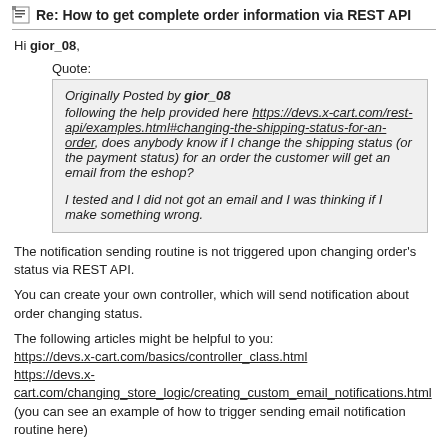Re: How to get complete order information via REST API
Hi gior_08,
Quote:
Originally Posted by gior_08
following the help provided here https://devs.x-cart.com/rest-api/examples.html#changing-the-shipping-status-for-an-order, does anybody know if I change the shipping status (or the payment status) for an order the customer will get an email from the eshop?

I tested and I did not got an email and I was thinking if I make something wrong.
The notification sending routine is not triggered upon changing order's status via REST API.
You can create your own controller, which will send notification about order changing status.
The following articles might be helpful to you:
https://devs.x-cart.com/basics/controller_class.html
https://devs.x-cart.com/changing_store_logic/creating_custom_email_notifications.html
(you can see an example of how to trigger sending email notification routine here)